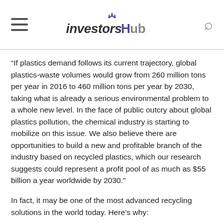investorsHub
“If plastics demand follows its current trajectory, global plastics-waste volumes would grow from 260 million tons per year in 2016 to 460 million tons per year by 2030, taking what is already a serious environmental problem to a whole new level. In the face of public outcry about global plastics pollution, the chemical industry is starting to mobilize on this issue. We also believe there are opportunities to build a new and profitable branch of the industry based on recycled plastics, which our research suggests could represent a profit pool of as much as $55 billion a year worldwide by 2030.”
In fact, it may be one of the most advanced recycling solutions in the world today. Here’s why:
Pyrolysis is a thermochemical treatment. It can be